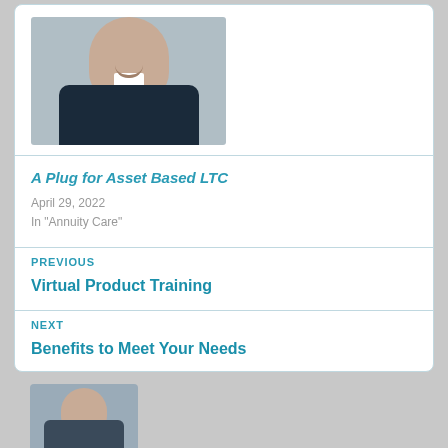[Figure (photo): Headshot of a man in a dark suit and white shirt, smiling]
A Plug for Asset Based LTC
April 29, 2022
In "Annuity Care"
PREVIOUS
Virtual Product Training
NEXT
Benefits to Meet Your Needs
[Figure (photo): Partial headshot of another person visible at bottom of page]